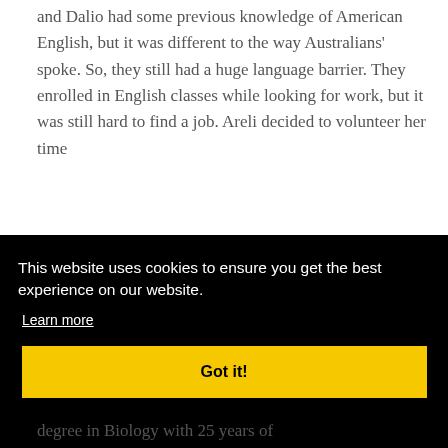and Dalio had some previous knowledge of American English, but it was different to the way Australians' spoke. So, they still had a huge language barrier. They enrolled in English classes while looking for work, but it was still hard to find a job. Areli decided to volunteer her time
[Figure (screenshot): Cookie consent banner overlay with black background. Text reads: 'This website uses cookies to ensure you get the best experience on our website.' with 'Learn more' underlined link and a yellow 'Got it!' button.]
degree in Biology with 25 years of